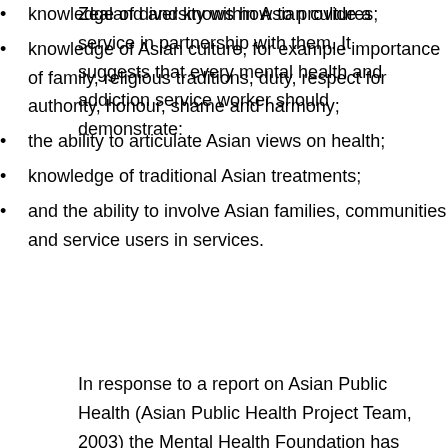Zealand and knows how to provide a service in partnership with them. It suggests that every mental health and addiction service worker should demonstrate:
knowledge of diversity within Asian cultures;
knowledge of Asian culture, for example importance of family, religious traditions, duty, respect for authority, honour, shame and harmony;
the ability to articulate Asian views on health;
knowledge of traditional Asian treatments;
and the ability to involve Asian families, communities and service users in services.
In response to a report on Asian Public Health (Asian Public Health Project Team, 2003) the Mental Health Foundation has developed information about